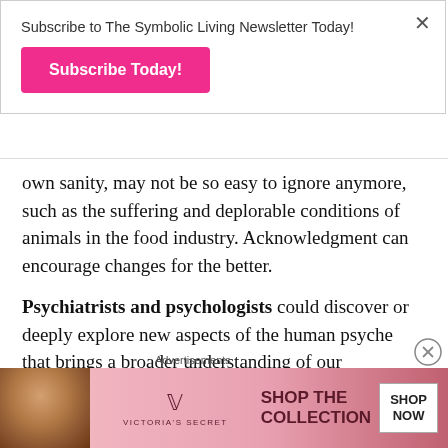Subscribe to The Symbolic Living Newsletter Today!
Subscribe Today!
own sanity, may not be so easy to ignore anymore, such as the suffering and deplorable conditions of animals in the food industry. Acknowledgment can encourage changes for the better.
Psychiatrists and psychologists could discover or deeply explore new aspects of the human psyche that brings a broader understanding of our motivations, behavior, actions, instincts and desires.
Advertisements
[Figure (photo): Victoria's Secret advertisement banner showing a model and text 'SHOP THE COLLECTION' with a 'SHOP NOW' button]